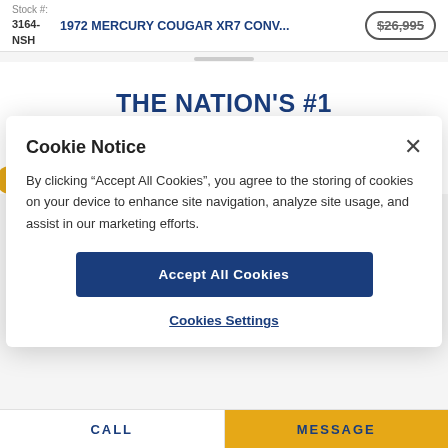Stock #: 3164-NSH | 1972 MERCURY COUGAR XR7 CONV... | $26,995
THE NATION'S #1 CONSIGNMENT DEALER
Cookie Notice
By clicking “Accept All Cookies”, you agree to the storing of cookies on your device to enhance site navigation, analyze site usage, and assist in our marketing efforts.
Accept All Cookies
Cookies Settings
CALL | MESSAGE